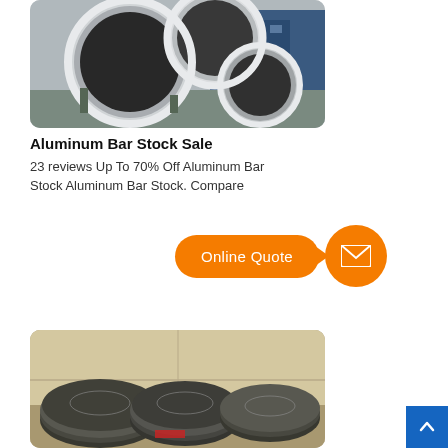[Figure (photo): Photo of large aluminum pipes/tubes stacked together in an industrial setting, painted white, with blue machinery visible in the background]
Aluminum Bar Stock Sale
23 reviews Up To 70% Off Aluminum Bar Stock Aluminum Bar Stock. Compare
[Figure (infographic): Orange 'Online Quote' call-to-action button with speech bubble arrow pointing to an orange circle with a white envelope/mail icon]
[Figure (photo): Photo of coils of aluminum or steel wire/rod stacked in an industrial warehouse setting]